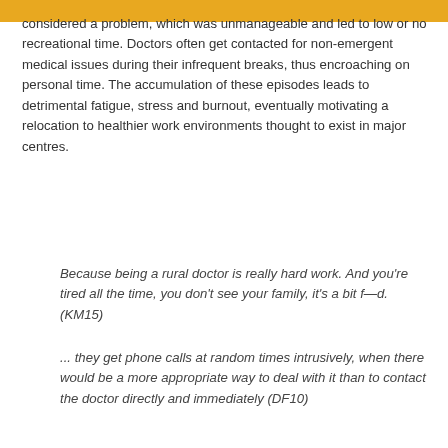considered a problem, which was unmanageable and led to low or no recreational time. Doctors often get contacted for non-emergent medical issues during their infrequent breaks, thus encroaching on personal time. The accumulation of these episodes leads to detrimental fatigue, stress and burnout, eventually motivating a relocation to healthier work environments thought to exist in major centres.
Because being a rural doctor is really hard work. And you're tired all the time, you don't see your family, it's a bit f—d. (KM15)
... they get phone calls at random times intrusively, when there would be a more appropriate way to deal with it than to contact the doctor directly and immediately (DF10)